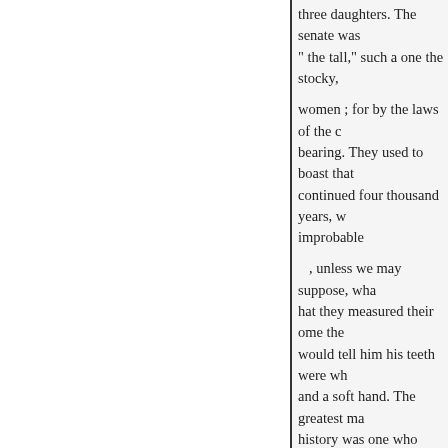three daughters. The senate was " the tall," such a one the stocky, women ; for by the laws of the c bearing. They used to boast that continued four thousand years, w improbable , unless we may suppose, wha hat they measured their ome the would tell him his teeth were wh and a soft hand. The greatest ma history was one who could list fi wore such a prodigious pair with , and at length overthrex the i seen in the common in a very gr accomplishments it several caus that if he had having been troubl , had het not died very season havo enslaved the republis. Havi a
« Назад